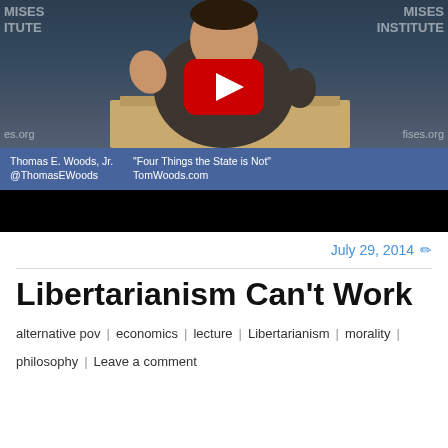[Figure (screenshot): YouTube video thumbnail showing Thomas E. Woods Jr. speaking at a Mises Institute event, with a large YouTube play button overlay. Lower bar shows 'Thomas E. Woods, Jr. @ThomasEWoods' and '"Four Things the State is Not" TomWoods.com']
July 29, 2014
Libertarianism Can't Work
alternative pov | economics | lecture | Libertarianism | morality | philosophy | Leave a comment